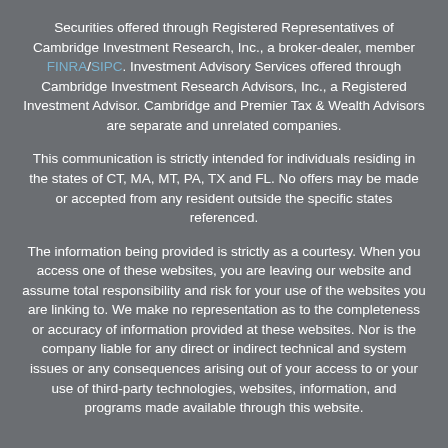Securities offered through Registered Representatives of Cambridge Investment Research, Inc., a broker-dealer, member FINRA/SIPC. Investment Advisory Services offered through Cambridge Investment Research Advisors, Inc., a Registered Investment Advisor. Cambridge and Premier Tax & Wealth Advisors are separate and unrelated companies.
This communication is strictly intended for individuals residing in the states of CT, MA, MT, PA, TX and FL. No offers may be made or accepted from any resident outside the specific states referenced.
The information being provided is strictly as a courtesy. When you access one of these websites, you are leaving our website and assume total responsibility and risk for your use of the websites you are linking to. We make no representation as to the completeness or accuracy of information provided at these websites. Nor is the company liable for any direct or indirect technical and system issues or any consequences arising out of your access to or your use of third-party technologies, websites, information, and programs made available through this website.